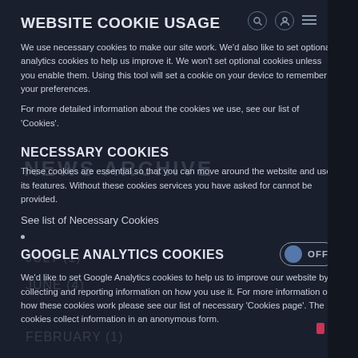WEBSITE COOKIE USAGE
We use necessary cookies to make our site work. We'd also like to set optional analytics cookies to help us improve it. We won't set optional cookies unless you enable them. Using this tool will set a cookie on your device to remember your preferences.
For more detailed information about the cookies we use, see our list of 'Cookies'.
NECESSARY COOKIES
These cookies are essential so that you can move around the website and use its features. Without these cookies services you have asked for cannot be provided.
See list of Necessary Cookies
GOOGLE ANALYTICS COOKIES
We'd like to set Google Analytics cookies to help us to improve our website by collecting and reporting information on how you use it. For more information on how these cookies work please see our list of necessary 'Cookies page'. The cookies collect information in an anonymous form.